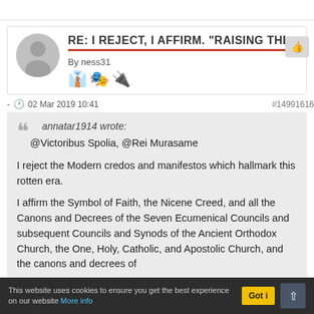RE: I REJECT, I AFFIRM. "RAISING THE BLA
By ness31
- 02 Mar 2019 10:41   #14991616
annatar1914 wrote:
@Victoribus Spolia, @Rei Murasame

I reject the Modern credos and manifestos which hallmark this rotten era.

I affirm the Symbol of Faith, the Nicene Creed, and all the Canons and Decrees of the Seven Ecumenical Councils and subsequent Councils and Synods of the Ancient Orthodox Church, the One, Holy, Catholic, and Apostolic Church, and the canons and decrees of
This website uses cookies to ensure you get the best experience on our website More info